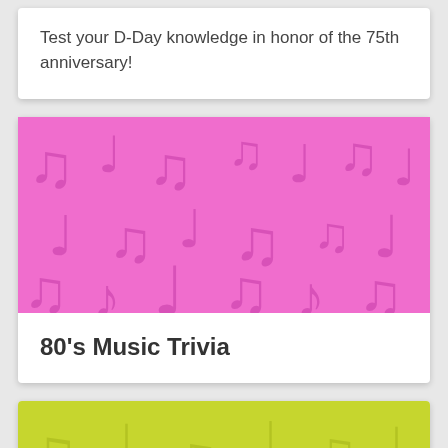Test your D-Day knowledge in honor of the 75th anniversary!
[Figure (illustration): Pink background with repeating musical note pattern]
80's Music Trivia
[Figure (illustration): Yellow-green background with repeating musical note pattern (partially visible)]